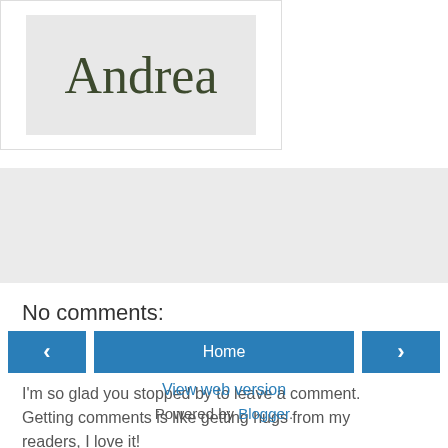[Figure (illustration): Cursive handwritten signature reading 'Andrea' on a light gray background, inside a white bordered box]
[Figure (other): Gray horizontal banner/advertisement bar]
No comments:
Post a Comment
I'm so glad you stopped by to leave a comment. Getting comments is like getting hugs from my readers, I love it!
Home
View web version
Powered by Blogger.